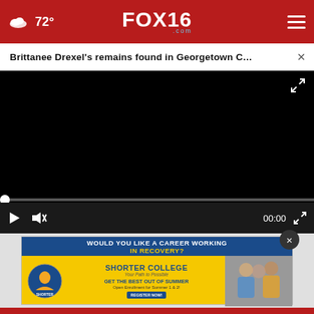72° FOX16.com
Brittanee Drexel's remains found in Georgetown C… ×
[Figure (screenshot): Black video player area with scrubber bar and playback controls showing 00:00 timestamp, play button, mute button, and fullscreen button]
[Figure (infographic): Advertisement for Shorter College: 'WOULD YOU LIKE A CAREER WORKING IN RECOVERY?' with Shorter College logo and 'GET THE BEST OUT OF SUMMER Open Enrollment for Summer 1 & 2!' text on yellow background with people photos]